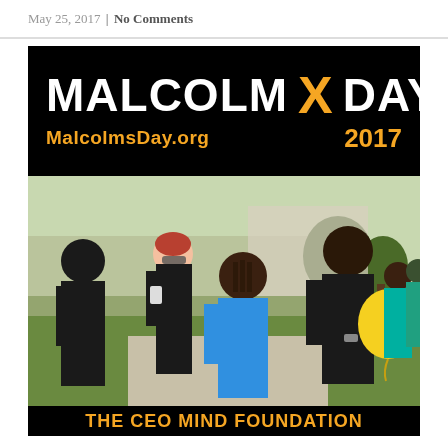May 25, 2017 | No Comments
[Figure (photo): Malcolm X Day 2017 event photo with banner reading 'MALCOLM X DAY MalcolmsDay.org 2017' and a group of people conversing outdoors, with text at bottom reading 'THE CEO MIND FOUNDATION']